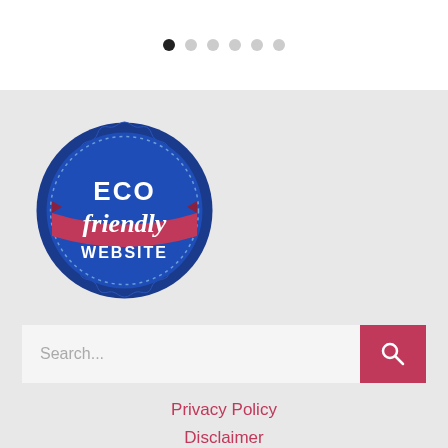[Figure (other): Pagination dots: six circles, first one filled black (active), remaining five gray]
[Figure (logo): Eco Friendly Website badge: dark blue scalloped circle badge with text ECO friendly WEBSITE in white]
[Figure (other): Search bar with placeholder text 'Search...' and a red/crimson search button with magnifying glass icon]
Privacy Policy
Disclaimer